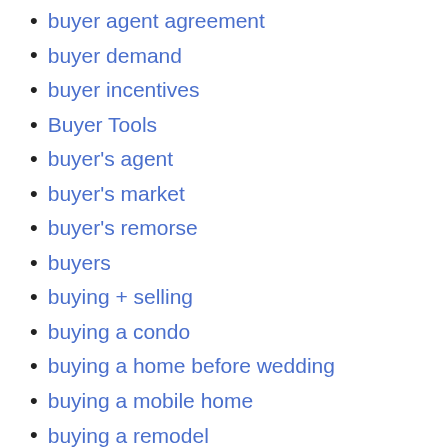buyer agent agreement
buyer demand
buyer incentives
Buyer Tools
buyer's agent
buyer's market
buyer's remorse
buyers
buying + selling
buying a condo
buying a home before wedding
buying a mobile home
buying a remodel
buying a second home
buying an old house
buying and selling
buying home after divorce
buying home at auction
buying house without down payment